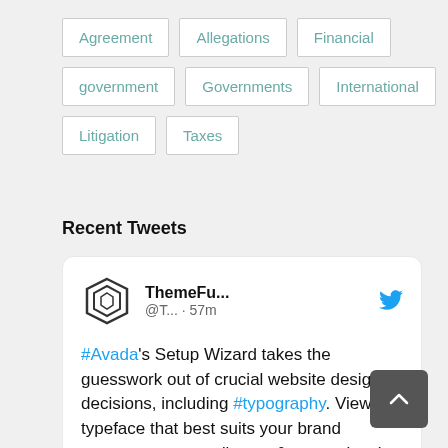Agreement
Allegations
Financial
government
Governments
International
Litigation
Taxes
Recent Tweets
ThemeFu... @T... · 57m #Avada's Setup Wizard takes the guesswork out of crucial website design decisions, including #typography. View the typeface that best suits your brand message, your audience, & customize the results before you launch